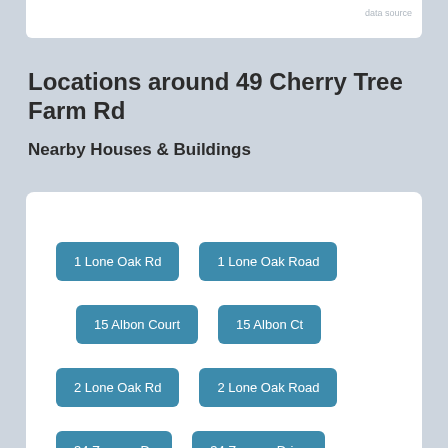data source
Locations around 49 Cherry Tree Farm Rd
Nearby Houses & Buildings
1 Lone Oak Rd
1 Lone Oak Road
15 Albon Court
15 Albon Ct
2 Lone Oak Rd
2 Lone Oak Road
34 Zerman Dr
34 Zerman Drive